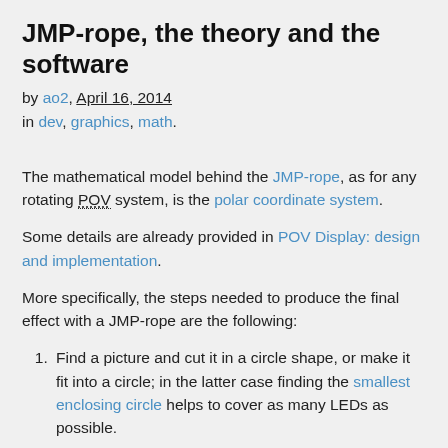JMP-rope, the theory and the software
by ao2, April 16, 2014
in dev, graphics, math.
The mathematical model behind the JMP-rope, as for any rotating POV system, is the polar coordinate system.
Some details are already provided in POV Display: design and implementation.
More specifically, the steps needed to produce the final effect with a JMP-rope are the following:
Find a picture and cut it in a circle shape, or make it fit into a circle; in the latter case finding the smallest enclosing circle helps to cover as many LEDs as possible.
[Figure (photo): A circular black disk with pink/magenta curved stripe patterns, partially visible at the bottom of the page.]